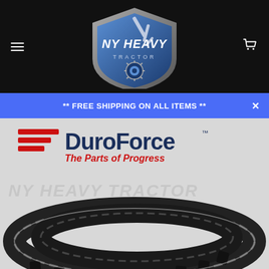[Figure (logo): NY Heavy Tractor logo — blue shield with excavator arm silhouette, white bold text 'NY HEAVY TRACTOR' on black navigation bar with hamburger menu icon on left and shopping cart icon on right]
** FREE SHIPPING ON ALL ITEMS **
[Figure (photo): DuroForce brand logo with red speed-lines and tagline 'The Parts of Progress' above a rubber track/belt product coiled on grey background, with NY Heavy Tractor watermark text overlaid]